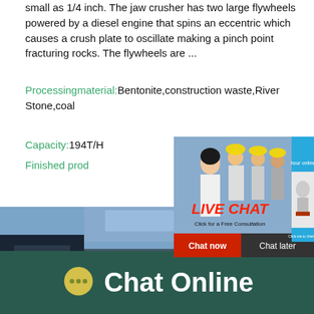small as 1/4 inch. The jaw crusher has two large flywheels powered by a diesel engine that spins an eccentric which causes a crush plate to oscillate making a pinch point fracturing rocks. The flywheels are ...
Processingmaterial: Bentonite,construction waste,River Stone,coal
Capacity: 194T/H
Finished prod... hour online
[Figure (screenshot): Live chat popup overlay showing workers in hard hats, LIVE CHAT title in red italic, 'Click for a Free Consultation' text, Chat now (red) and Chat later (dark) buttons, and a right blue panel with industrial machinery image and 'Click me to chat>>' button]
[Figure (photo): Industrial scene with conveyor belts and construction equipment against a blue sky]
Chat Online